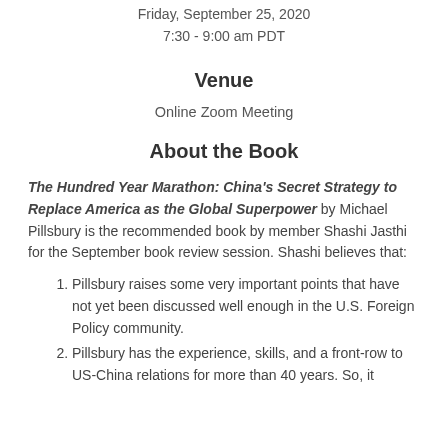Friday, September 25, 2020
7:30 - 9:00 am PDT
Venue
Online Zoom Meeting
About the Book
The Hundred Year Marathon: China's Secret Strategy to Replace America as the Global Superpower by Michael Pillsbury is the recommended book by member Shashi Jasthi for the September book review session. Shashi believes that:
Pillsbury raises some very important points that have not yet been discussed well enough in the U.S. Foreign Policy community.
Pillsbury has the experience, skills, and a front-row to US-China relations for more than 40 years. So, it